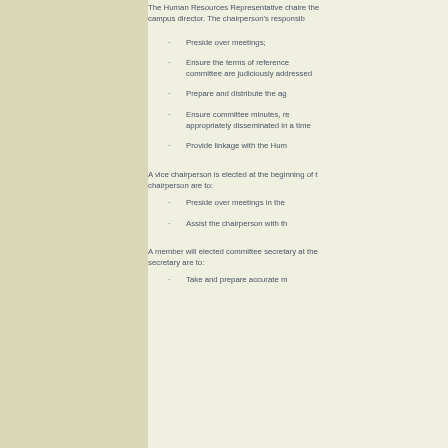The Human Resources Representative chaire the campus director. The chairperson's responsib
Preside over meetings;
Ensure the terms of reference committee are judiciously addressed
Prepare and distribute the ag
Ensure committee minutes, re appropriately disseminated in a time
Provide linkage with the Hum
A vice chairperson is elected at the beginning of t chairperson are to:
Preside over meetings in the
Assist the chairperson with th
A member will elected committee secretary at the secretary are to:
Take and prepare accurate m